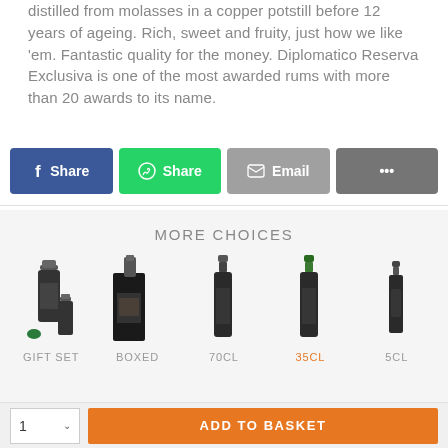distilled from molasses in a copper potstill before 12 years of ageing. Rich, sweet and fruity, just how we like 'em. Fantastic quality for the money. Diplomatico Reserva Exclusiva is one of the most awarded rums with more than 20 awards to its name.
[Figure (other): Social sharing buttons row: Facebook Share (blue), WhatsApp Share (green), Email (grey), More/dots (dark grey)]
MORE CHOICES
[Figure (other): Product variant thumbnails row: GIFT SET (bottle with small bottle and cap), BOXED (bottle in black box), 70CL (single bottle), 35CL (selected/active in orange, single bottle), 5CL (small bottle)]
[Figure (other): Add to basket bar: quantity selector showing 1 with dropdown arrow, orange ADD TO BASKET button]